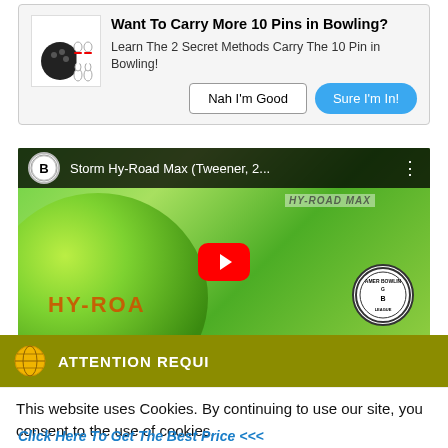Want To Carry More 10 Pins in Bowling?
Learn The 2 Secret Methods Carry The 10 Pin in Bowling!
[Figure (screenshot): Ad banner with bowling ball and pins icon, two buttons: 'Nah I'm Good' and 'Sure I'm In!']
[Figure (screenshot): YouTube video thumbnail showing Storm Hy-Road Max bowling ball review video with green bowling ball, play button, and Bowler's channel logo. Title: Storm Hy-Road Max (Tweener, 2...]
ATTENTION REQUI
This website uses Cookies. By continuing to use our site, you consent to the use of cookies.
Accept
Privacy Center
Click Here To Get The Best Price <<<